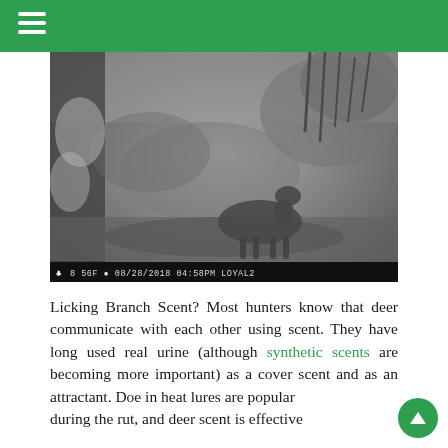[Figure (photo): Trail camera black-and-white photo of a deer in wooded area with snow-covered foliage. Camera overlay text reads: 8 56F  08/28/2018 04:58PM LOYAL2]
Licking Branch Scent? Most hunters know that deer communicate with each other using scent. They have long used real urine (although synthetic scents are becoming more important) as a cover scent and as an attractant. Doe in heat lures are popular during the rut, and deer scent is effective